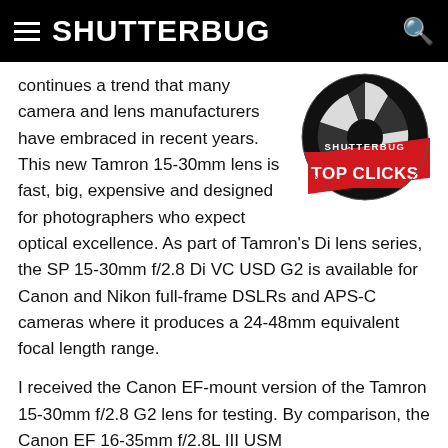SHUTTERBUG
[Figure (logo): Shutterbug Top Clicks badge — circular black and white camera shutter aperture logo with red ribbon banner reading TOP CLICKS and SHUTTERBUG text above]
continues a trend that many camera and lens manufacturers have embraced in recent years. This new Tamron 15-30mm lens is fast, big, expensive and designed for photographers who expect optical excellence. As part of Tamron's Di lens series, the SP 15-30mm f/2.8 Di VC USD G2 is available for Canon and Nikon full-frame DSLRs and APS-C cameras where it produces a 24-48mm equivalent focal length range.
I received the Canon EF-mount version of the Tamron 15-30mm f/2.8 G2 lens for testing. By comparison, the Canon EF 16-35mm f/2.8L III USM